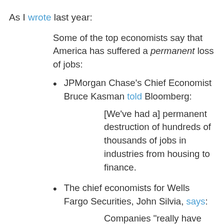As I wrote last year:
Some of the top economists say that America has suffered a permanent loss of jobs:
JPMorgan Chase's Chief Economist Bruce Kasman told Bloomberg:
[We've had a] permanent destruction of hundreds of thousands of jobs in industries from housing to finance.
The chief economists for Wells Fargo Securities, John Silvia, says:
Companies “really have diminished their willingness to hire labor for any production level,”